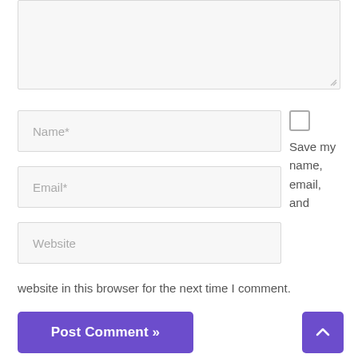[Figure (screenshot): Empty textarea input box with resize handle at bottom right]
Name*
Email*
Website
Save my name, email, and website in this browser for the next time I comment.
Post Comment »